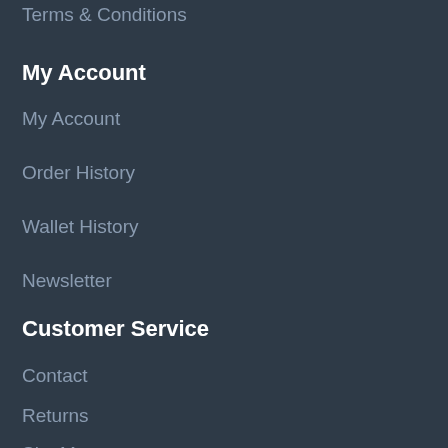Terms & Conditions
My Account
My Account
Order History
Wallet History
Newsletter
Customer Service
Contact
Returns
Site Map
N...